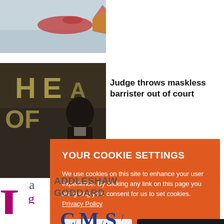[Figure (photo): Fish tail visible above water/snow, partial image cropped at top]
[Figure (photo): Man in suit near court building signage, partially visible]
Judge throws maskless barrister out of court
YOUR COOKIE SETTINGS

We use cookies on this site to enhance your user experience. By clicking any link on this page you are giving your consent for us to set cookies. Privacy Policy

YES, I ACCEPT    MORE INFORMATION
[Figure (logo): Addleshaw Goddard law firm logo with stylized 'a' and 'g' letters]
[Figure (logo): CMS law firm logo in blue]